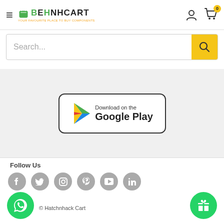BEHNHCART - Your favourite place to buy components
Search...
[Figure (screenshot): Download on the Google Play button with Play Store logo]
Follow Us
[Figure (infographic): Social media icons: Facebook, Twitter, Instagram, Pinterest, YouTube, LinkedIn]
© Hatchnhack Cart